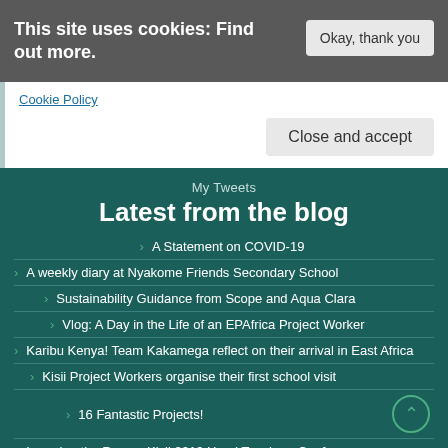This site uses cookies: Find out more.
Okay, thank you
Cookie Policy
Close and accept
My Tweets
Latest from the blog
A Statement on COVID-19
A weekly diary at Nyakome Friends Secondary School
Sustainability Guidance from Scope and Aqua Clara
Vlog: A Day in the Life of an EPAfrica Project Worker
Karibu Kenya! Team Kakamega reflect on their arrival in East Africa
Kisii Project Workers organise their first school visit
16 Fantastic Projects!
Learning the Ropes: Kisii 2019 Head Teachers Conference